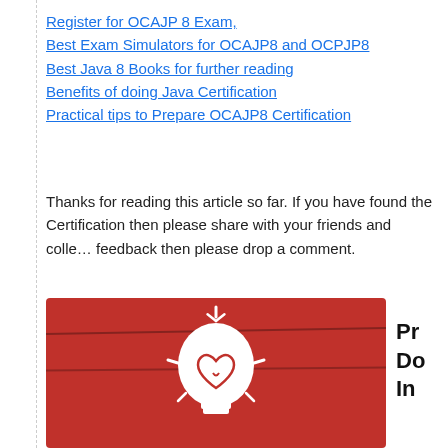Register for OCAJP 8 Exam,
Best Exam Simulators for OCAJP8 and OCPJP8
Best Java 8 Books for further reading
Benefits of doing Java Certification
Practical tips to Prepare OCAJP8 Certification
Thanks for reading this article so far. If you have found the Certification then please share with your friends and colleagues. If you have any feedback then please drop a comment.
[Figure (photo): Red wooden background with a white lightbulb illustration, representing ideas or tips about Java Certification preparation.]